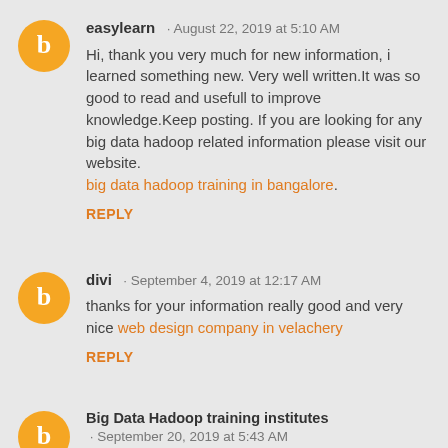easylearn · August 22, 2019 at 5:10 AM
Hi, thank you very much for new information, i learned something new. Very well written.It was so good to read and usefull to improve knowledge.Keep posting. If you are looking for any big data hadoop related information please visit our website.
big data hadoop training in bangalore.
REPLY
divi · September 4, 2019 at 12:17 AM
thanks for your information really good and very nice web design company in velachery
REPLY
Big Data Hadoop training institutes · September 20, 2019 at 5:43 AM